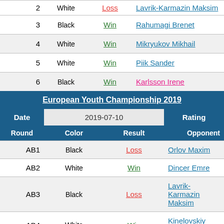| Round | Color | Result | Opponent |
| --- | --- | --- | --- |
| 2 | White | Loss | Lavrik-Karmazin Maksim |
| 3 | Black | Win | Rahumagi Brenet |
| 4 | White | Win | Mikryukov Mikhail |
| 5 | White | Win | Piik Sander |
| 6 | Black | Win | Karlsson Irene |
European Youth Championship 2019
| Date | 2019-07-10 | Rating |
| --- | --- | --- |
| Round | Color | Result | Opponent |
| AB1 | Black | Loss | Orlov Maxim |
| AB2 | White | Win | Dincer Emre |
| AB3 | Black | Loss | Lavrik-Karmazin Maksim |
| AB4 | White | Win | Kinelovskiy Nikita |
| AB5 | White | Loss | Piik Sander |
| AB6 | Black | Win | Yilmaz Oguzhan |